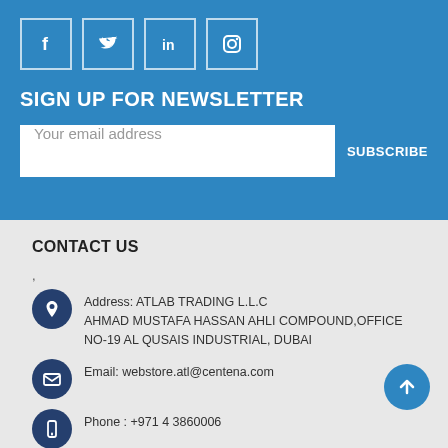[Figure (infographic): Social media icons in white bordered boxes: Facebook (f), Twitter (bird), LinkedIn (in), Instagram (camera)]
SIGN UP FOR NEWSLETTER
Your email address
SUBSCRIBE
CONTACT US
,
Address: ATLAB TRADING L.L.C AHMAD MUSTAFA HASSAN AHLI COMPOUND,OFFICE NO-19 AL QUSAIS INDUSTRIAL, DUBAI
Email: webstore.atl@centena.com
Phone : +971 4 3860006